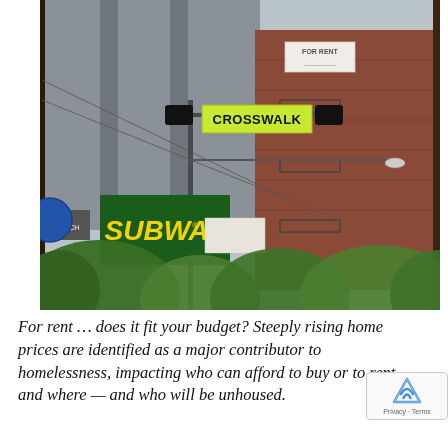[Figure (photo): Street-level photo of an urban intersection showing a green CROSSWALK sign on a traffic signal pole, a Subway restaurant sign, a brick apartment building with a FOR RENT sign, utility poles and wires, and lush green trees in the foreground.]
For rent ... does it fit your budget? Steeply rising home prices are identified as a major contributor to homelessness, impacting who can afford to buy or to rent, and where — and who will be unhoused.